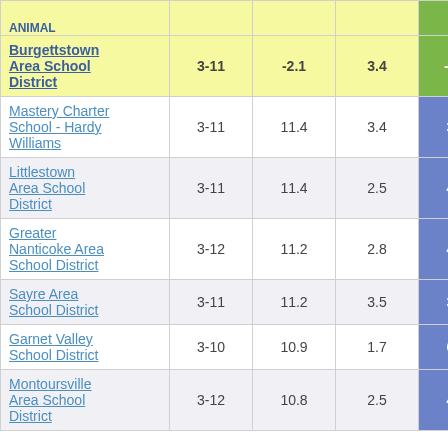| School/District | Grades | Col3 | Col4 | Col5 |
| --- | --- | --- | --- | --- |
| Burgettstown Area School District | 3-11 | -2.1 | 3.4 | -0.62 |
| Mastery Charter School - Hardy Williams | 3-11 | 11.4 | 3.4 | 3.33 |
| Littlestown Area School District | 3-11 | 11.4 | 2.5 | 4.62 |
| Greater Nanticoke Area School District | 3-12 | 11.2 | 2.8 | 4.01 |
| Sayre Area School District | 3-11 | 11.2 | 3.5 | 3.20 |
| Garnet Valley School District | 3-10 | 10.9 | 1.7 | 6.53 |
| Montoursville Area School District | 3-12 | 10.8 | 2.5 | 4.24 |